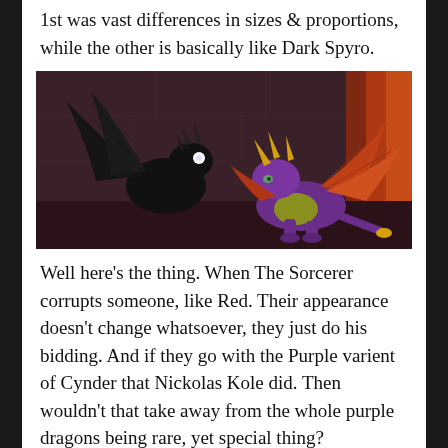1st was vast differences in sizes & proportions, while the other is basically like Dark Spyro.
[Figure (photo): Screenshot from a Spyro video game showing two dragons facing each other. On the left is a dark/black dragon (Cynder) with glowing white eyes and spread wings. On the right is the purple Spyro dragon with gold horns and orange-red wings, lying low to the ground. The background is a dark reddish-brown stone dungeon with a bright red/orange light source on the right side.]
Well here's the thing. When The Sorcerer corrupts someone, like Red. Their appearance doesn't change whatsoever, they just do his bidding. And if they go with the Purple varient of Cynder that Nickolas Kole did. Then wouldn't that take away from the whole purple dragons being rare, yet special thing?